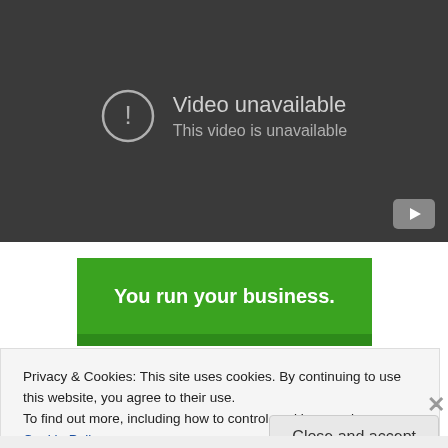[Figure (screenshot): Video player showing 'Video unavailable' error with exclamation mark icon and YouTube button at bottom right]
[Figure (screenshot): Green banner with white bold text reading 'You run your business.']
Privacy & Cookies: This site uses cookies. By continuing to use this website, you agree to their use.
To find out more, including how to control cookies, see here: Cookie Policy
Close and accept